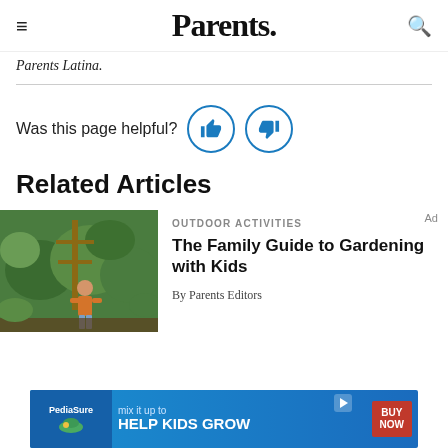Parents.
Parents Latina.
Was this page helpful?
Related Articles
[Figure (photo): Child standing in a garden with greenery and plants]
OUTDOOR ACTIVITIES
The Family Guide to Gardening with Kids
By Parents Editors
[Figure (infographic): PediaSure advertisement banner: mix it up to HELP KIDS GROW with BUY NOW button]